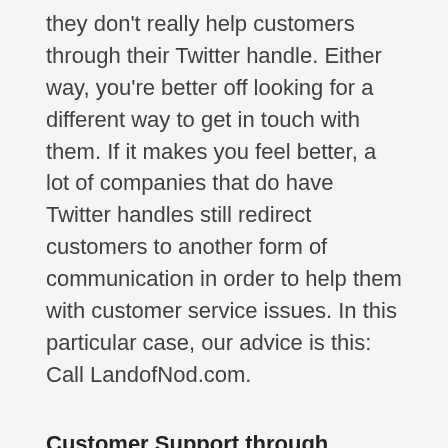they don't really help customers through their Twitter handle. Either way, you're better off looking for a different way to get in touch with them. If it makes you feel better, a lot of companies that do have Twitter handles still redirect customers to another form of communication in order to help them with customer service issues. In this particular case, our advice is this: Call LandofNod.com.
Customer Support through Twitter in General
While we don't know of a Twitter username for LandofNod.com, in general we do support helping you find a way to contact companies over Twitter for the purposes of handling customer service problems. With our problem-specific help tools, we help you create a page for your issue and then one-click to